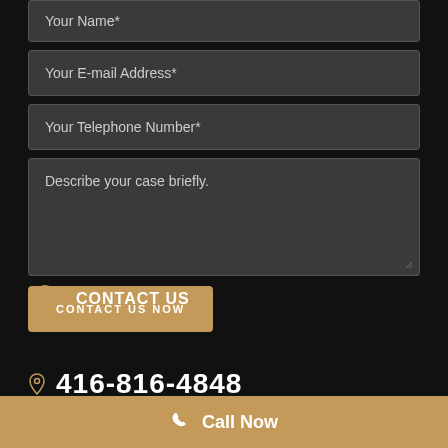Your Name*
Your E-mail Address*
Your Telephone Number*
Describe your case briefly.
CONTACT US NOW
CONTACT US
416-816-4848
Call Now